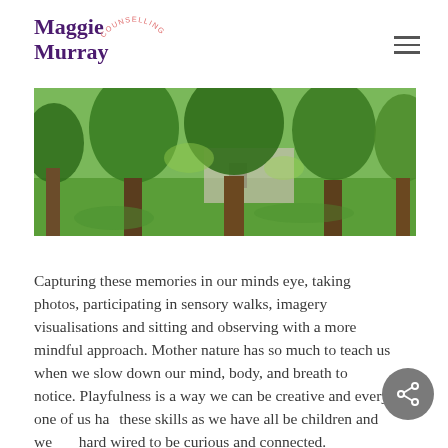Maggie Murray Counselling
[Figure (photo): Wide landscape photo of a park or garden with large mature trees with green foliage, green grass lawn, and a stone building visible in the background.]
Capturing these memories in our minds eye, taking photos, participating in sensory walks, imagery visualisations and sitting and observing with a more mindful approach. Mother nature has so much to teach us when we slow down our mind, body, and breath to notice. Playfulness is a way we can be creative and every one of us has these skills as we have all be children and we are hard wired to be curious and connected.